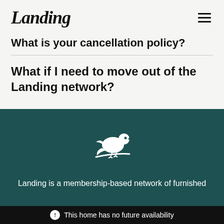Landing
What is your cancellation policy?
What if I need to move out of the Landing network?
[Figure (logo): White bird/dove logo on dark teal background]
Landing is a membership-based network of furnished
This home has no future availability